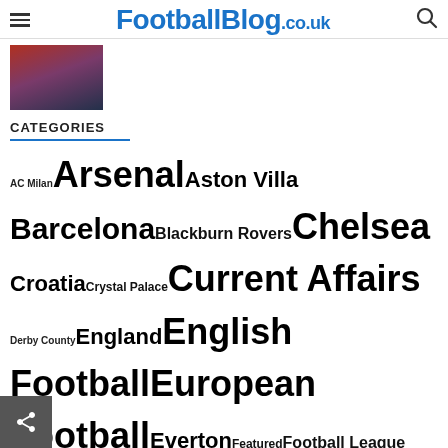FootballBlog.co.uk
[Figure (photo): Partial photo of a football player in red uniform]
CATEGORIES
AC Milan Arsenal Aston Villa Barcelona Blackburn Rovers Chelsea Croatia Crystal Palace Current Affairs Derby County England English Football European Football Everton Featured Football League Clubs France Germany Gillingham Hearts Holland Italy Juventus Leicester City Liverpool Managers Manchester City Manchester United Money in Football Newcastle United Peterborough United Players Portsmouth Portugal Predictions Premier League Rangers Real Madrid Sheffield United Spain Stoke City Sunderland Tottenham Hotspur West Ham United World Football